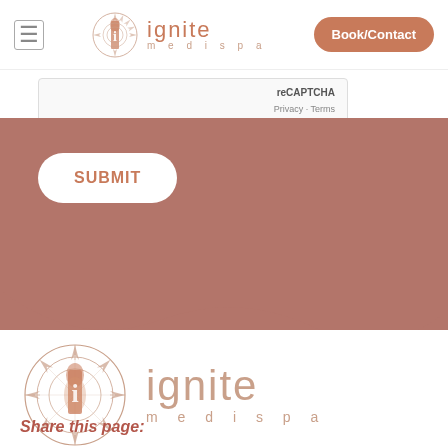[Figure (logo): Ignite Medispa logo in nav bar with mandala icon and text]
Book/Contact
reCAPTCHA
Privacy - Terms
SUBMIT
[Figure (logo): Large Ignite Medispa footer logo with mandala icon]
Share this page: